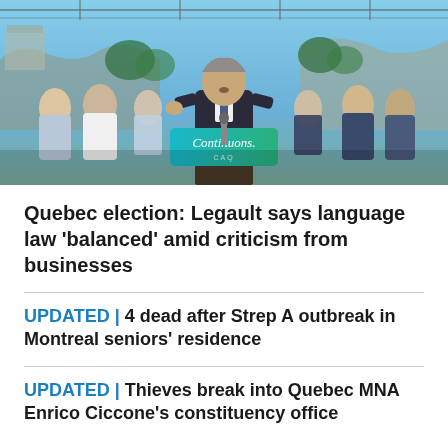[Figure (photo): A man in a dark suit speaking at a podium with a teal/green 'Continuons. CAQ' sign, surrounded by supporters outdoors near a waterfall or rocky landscape with blue sky.]
Quebec election: Legault says language law 'balanced' amid criticism from businesses
UPDATED | 4 dead after Strep A outbreak in Montreal seniors' residence
UPDATED | Thieves break into Quebec MNA Enrico Ciccone's constituency office